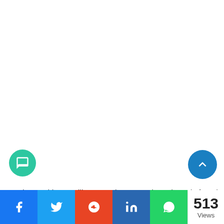yes these things will come later on but the platform that
513 Views | Share: Facebook, Twitter, Reddit, LinkedIn, WhatsApp